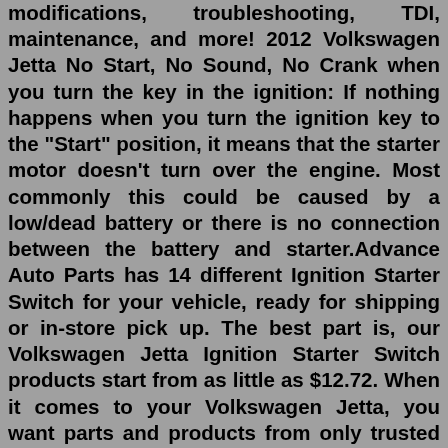modifications, troubleshooting, TDI, maintenance, and more! 2012 Volkswagen Jetta No Start, No Sound, No Crank when you turn the key in the ignition: If nothing happens when you turn the ignition key to the "Start" position, it means that the starter motor doesn't turn over the engine. Most commonly this could be caused by a low/dead battery or there is no connection between the battery and starter.Advance Auto Parts has 14 different Ignition Starter Switch for your vehicle, ready for shipping or in-store pick up. The best part is, our Volkswagen Jetta Ignition Starter Switch products start from as little as $12.72. When it comes to your Volkswagen Jetta, you want parts and products from only trusted brands.The 2012 Volkswagen Jetta has 2 problems reported for won't start intermittently. Average failure mileage is 78,500 miles.Advance Auto Parts has 14 different Ignition Starter Switch for your vehicle, ready for shipping or in-store pick up. The best part is, our Volkswagen Jetta Ignition Starter Switch products start from as little as $12.72. Su...